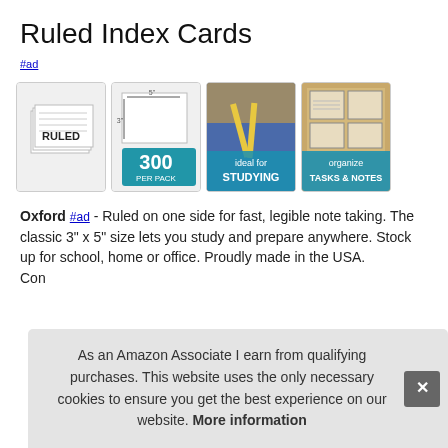Ruled Index Cards
#ad
[Figure (photo): Four product images of Oxford ruled index cards showing the physical product, dimensions, 300 per pack, ideal for studying, and organize tasks & notes]
Oxford #ad - Ruled on one side for fast, legible note taking. The classic 3" x 5" size lets you study and prepare anywhere. Stock up for school, home or office. Proudly made in the USA. Con...
As an Amazon Associate I earn from qualifying purchases. This website uses the only necessary cookies to ensure you get the best experience on our website. More information